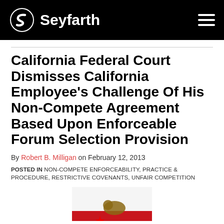Seyfarth
California Federal Court Dismisses California Employee's Challenge Of His Non-Compete Agreement Based Upon Enforceable Forum Selection Provision
By Robert B. Milligan on February 12, 2013
POSTED IN NON-COMPETE ENFORCEABILITY, PRACTICE & PROCEDURE, RESTRICTIVE COVENANTS, UNFAIR COMPETITION
[Figure (photo): California state flag partially visible at bottom of page]